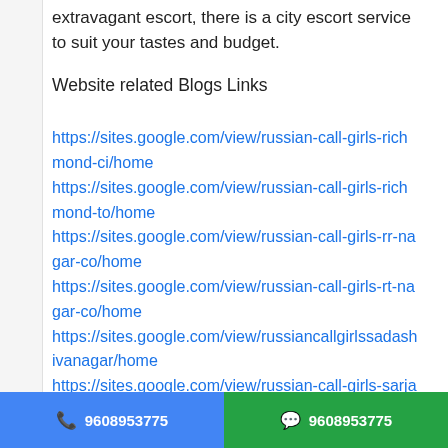extravagant escort, there is a city escort service to suit your tastes and budget.
Website related Blogs Links
https://sites.google.com/view/russian-call-girls-richmond-ci/home
https://sites.google.com/view/russian-call-girls-richmond-to/home
https://sites.google.com/view/russian-call-girls-rr-nagar-co/home
https://sites.google.com/view/russian-call-girls-rt-nagar-co/home
https://sites.google.com/view/russiancallgirlssadashivanagar/home
https://sites.google.com/view/russian-call-girls-sarjapur-ro/home
https://sites.google.com/view/russian-call-girls-
9608953775  9608953775